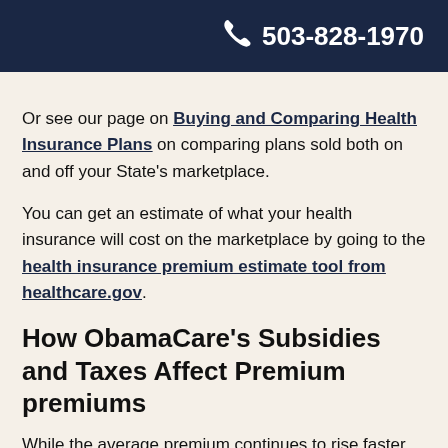503-828-1970
Or see our page on Buying and Comparing Health Insurance Plans on comparing plans sold both on and off your State's marketplace.
You can get an estimate of what your health insurance will cost on the marketplace by going to the health insurance premium estimate tool from healthcare.gov.
How ObamaCare's Subsidies and Taxes Affect Premium premiums
While the average premium continues to rise faster than inflation and has since 1999, the amount of the premium many Americans will pay will go down significantly starting in 2014. Those making under 400% of the federal poverty